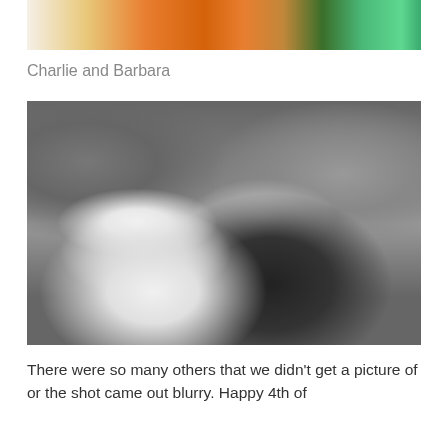[Figure (photo): Top portion of a colorful photo, partially cropped, showing orange and blue floral/decorative pattern on left, green fabric on right.]
Charlie and Barbara
[Figure (photo): Black and white photograph of an older couple (Charlie and Barbara) seated on what appears to a boat. The man on the left wears a white cap and white shirt; the woman on the right wears a dark shirt. Other people are visible in the background on the boat.]
There were so many others that we didn't get a picture of or the shot came out blurry. Happy 4th of